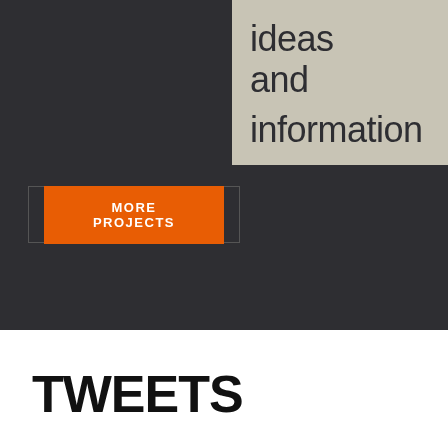ideas and information
MORE PROJECTS
TWEETS